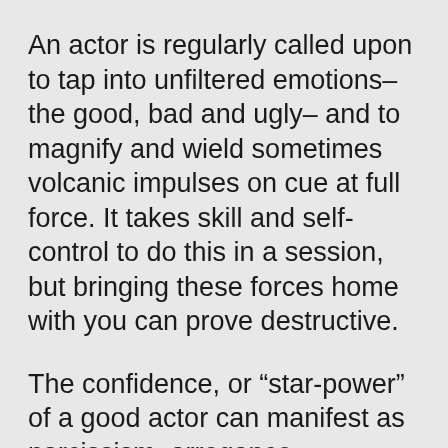An actor is regularly called upon to tap into unfiltered emotions–the good, bad and ugly– and to magnify and wield sometimes volcanic impulses on cue at full force. It takes skill and self-control to do this in a session, but bringing these forces home with you can prove destructive.
The confidence, or “star-power” of a good actor can manifest as narcissism, arrogance, rudeness, or “prima donna” behavior back in the “real world.”  It can result in impulsive outbursts or losing control and can prove ruinous to one’s personal life if